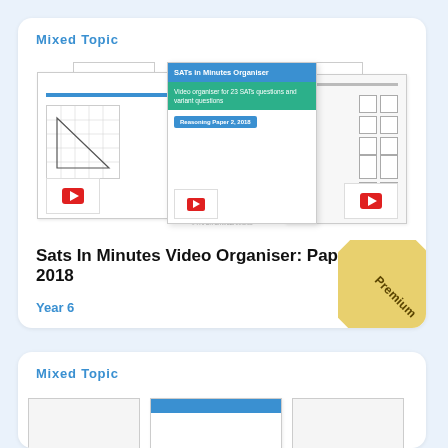Mixed Topic
[Figure (illustration): Thumbnail of SATs in Minutes Video Organiser showing document pages with blue/green sections, YouTube play buttons, Reasoning Paper 2, 2018 label]
Sats In Minutes Video Organiser: Paper 2, 2018
Year 6
Mixed Topic